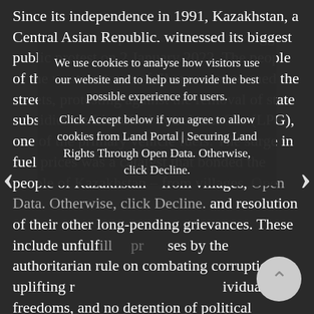Since its independence in 1991, Kazakhstan, a Central Asian Republic, witnessed its biggest public protest on 2 January 2022. The people of the western town of Zhanaozen stormed the streets, protesting against the removal of state subsidies on Liquefied Petroleum Gas (LPG), one of the primary vehicle fuels. The surge in fuel prices was a catalyst that bonded the people of Kazakhstan – from villages, Open Data. Otherwise, click Decline. and resolution of their other long-pending grievances. These include unfulfilled promises by the authoritarian rule on combating corruption, uplifting r... individual freedoms, and no detention of political opponents, journalists, and rights groups. The lack of democracy and inequality that has been exacerbated during the ongoing pandemic have only increased the dissent amongst the ordinary Kazaks.
We use cookies to analyse how visitors use our website and to help us provide the best possible experience for users.
Click Accept below if you agree to allow cookies from Land Portal | Securing Land Rights Through Open Data. Otherwise, click Decline.
Acceptez
Decline